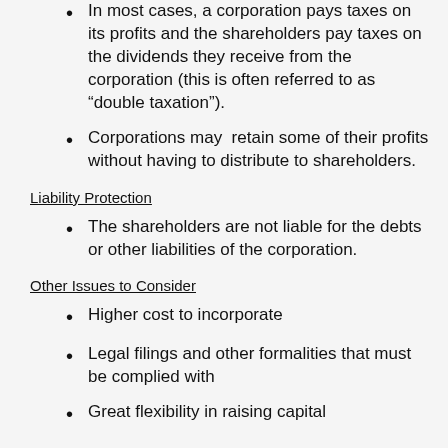In most cases, a corporation pays taxes on its profits and the shareholders pay taxes on the dividends they receive from the corporation (this is often referred to as “double taxation”).
Corporations may retain some of their profits without having to distribute to shareholders.
Liability Protection
The shareholders are not liable for the debts or other liabilities of the corporation.
Other Issues to Consider
Higher cost to incorporate
Legal filings and other formalities that must be complied with
Great flexibility in raising capital